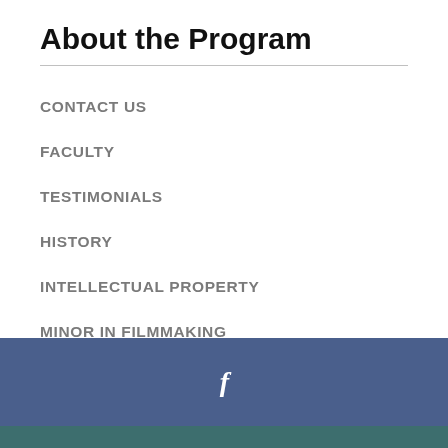About the Program
CONTACT US
FACULTY
TESTIMONIALS
HISTORY
INTELLECTUAL PROPERTY
MINOR IN FILMMAKING
f